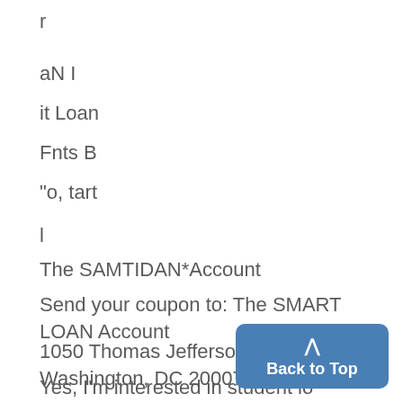r
aN I
it Loan
Fnts B
"o, tart
l
The SAMTIDAN*Account
Send your coupon to: The SMART LOAN Account
1050 Thomas Jefferson St., NW, Washington, DC 20007
Yes, I'm interested in student lo consolidation. Tell mne